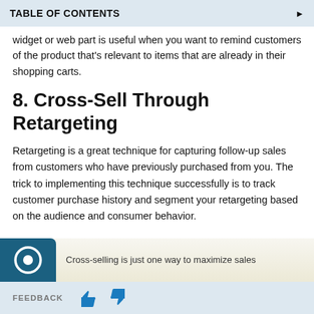TABLE OF CONTENTS
widget or web part is useful when you want to remind customers of the product that's relevant to items that are already in their shopping carts.
8. Cross-Sell Through Retargeting
Retargeting is a great technique for capturing follow-up sales from customers who have previously purchased from you. The trick to implementing this technique successfully is to track customer purchase history and segment your retargeting based on the audience and consumer behavior.
[Figure (illustration): Teal rounded square icon with a circular graphic, partial view of a banner saying Cross-selling is just one way to maximize sales]
FEEDBACK